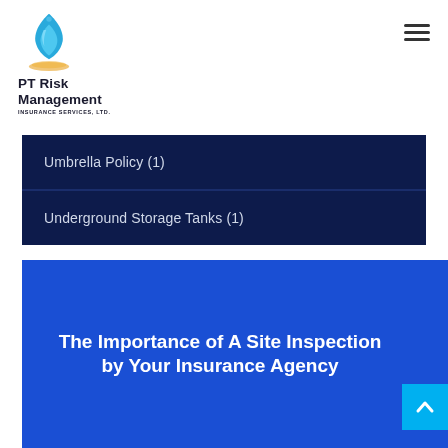[Figure (logo): PT Risk Management Insurance Services, Ltd. logo with blue flame icon]
Umbrella Policy (1)
Underground Storage Tanks (1)
The Importance of A Site Inspection by Your Insurance Agency